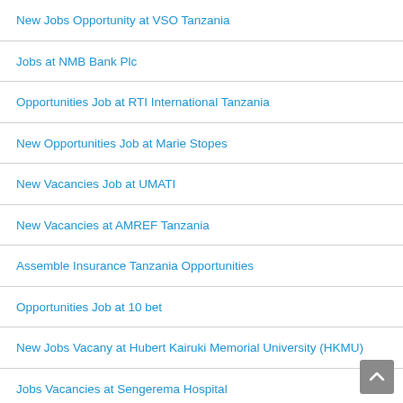New Jobs Opportunity at VSO Tanzania
Jobs at NMB Bank Plc
Opportunities Job at RTI International Tanzania
New Opportunities Job at Marie Stopes
New Vacancies Job at UMATI
New Vacancies at AMREF Tanzania
Assemble Insurance Tanzania Opportunities
Opportunities Job at 10 bet
New Jobs Vacany at Hubert Kairuki Memorial University (HKMU)
Jobs Vacancies at Sengerema Hospital
New Opportunities Job at The East African Community (EAC)
Chinese Translator Opportunities opening at Eshow International